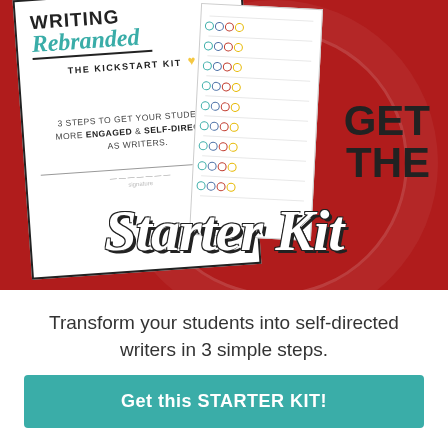[Figure (illustration): Red background hero image showing two printed worksheet/booklet cards (Writing Rebranded: The Kickstart Kit and a colorful checkbox checklist), with large bold text 'GET THE' and handwritten-style script text 'Starter Kit' overlaid on the red background.]
Transform your students into self-directed writers in 3 simple steps.
Get this STARTER KIT!